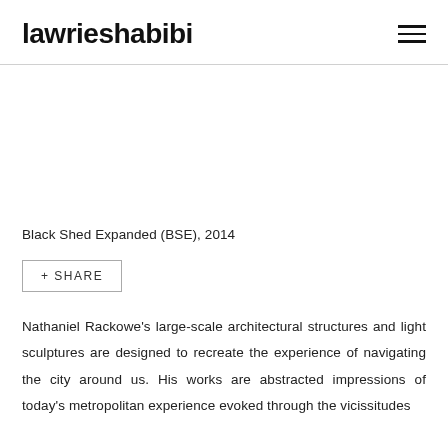lawrieshabibi
[Figure (other): Empty white image area placeholder for artwork]
Black Shed Expanded (BSE), 2014
+ SHARE
Nathaniel Rackowe's large-scale architectural structures and light sculptures are designed to recreate the experience of navigating the city around us. His works are abstracted impressions of today's metropolitan experience evoked through the vicissitudes